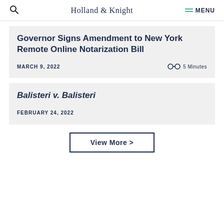Holland & Knight  MENU
Governor Signs Amendment to New York Remote Online Notarization Bill
MARCH 9, 2022  5 Minutes
Balisteri v. Balisteri
FEBRUARY 24, 2022
View More >